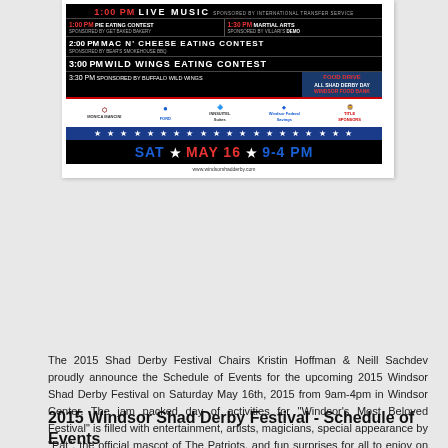[Figure (infographic): Festival poster for 2015 Windsor Shad Derby Festival showing schedule of events including Live Music at 1:00 PM, Pie Eating Contest at 1:00 PM sponsored by Get Baked Bakery, Martial Arts Demo at 1:30 PM sponsored by Villari's, Mac N' Cheese Eating Contest at 2:00 PM sponsored by Bear's Smokehouse BBQ, Wild Wings Eating Contest at 3:00 PM, 3:30 PM sponsored by Buffalo Wild Wings, Food Drive all day for Windsor Food Bank, sponsor logos including Monica Mancini Ford, Windsor Federal, and others. Date: SAT MAY 16 9-4 PM. Website: www.windsorshadderby.com]
The 2015 Shad Derby Festival Chairs Kristin Hoffman & Neill Sachdev proudly announce the Schedule of Events for the upcoming 2015 Windsor Shad Derby Festival on Saturday May 16th, 2015 from 9am-4pm in Windsor Center. The jam packed day of activities for "Windsor's Most Beloved Festival" is filled with entertainment, artists, magicians, special appearance by "Pat", the official mascot of The Patriots. and fun surprises for all to enjoy on May 16th, 2015!!
2015 Windsor Shad Derby Festival - Schedule of Events